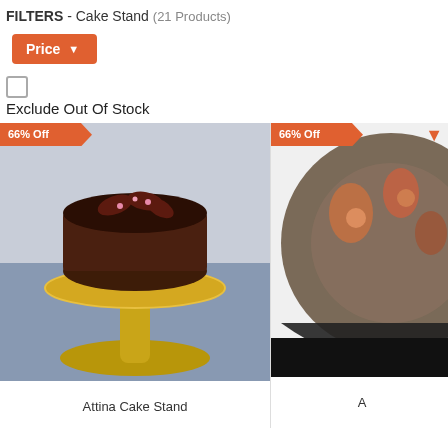FILTERS - Cake Stand (21 Products)
Price
Exclude Out Of Stock
[Figure (photo): Product listing page showing two cake stands with orange discount badges. Left product: Attina Cake Stand on a wooden pedestal with a chocolate cake on top. Right product: partially visible decorated round cake stand.]
Attina Cake Stand
A